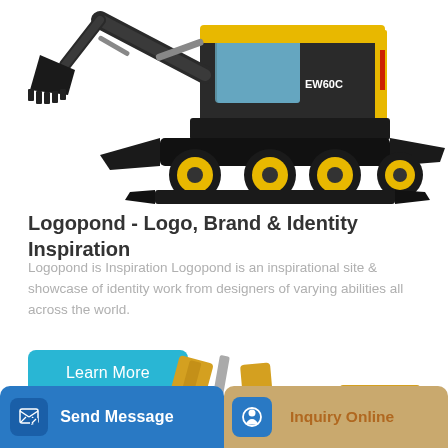[Figure (photo): Yellow wheeled excavator (EW60C) with bucket arm extended, black undercarriage and yellow wheels, photographed on white background]
Logopond - Logo, Brand & Identity Inspiration
Logopond is Inspiration Logopond is an inspirational site & showcase of identity work from designers of varying abilities all across the world.
[Figure (illustration): Partial view of yellow construction excavator arm/boom with XCMG branding visible, cropped at bottom of page]
Learn More
Send Message
Inquiry Online